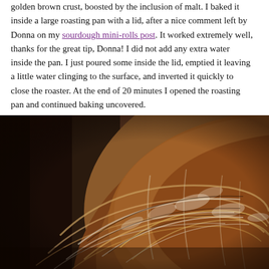golden brown crust, boosted by the inclusion of malt. I baked it inside a large roasting pan with a lid, after a nice comment left by Donna on my sourdough mini-rolls post. It worked extremely well, thanks for the great tip, Donna! I did not add any extra water inside the pan. I just poured some inside the lid, emptied it leaving a little water clinging to the surface, and inverted it quickly to close the roaster. At the end of 20 minutes I opened the roasting pan and continued baking uncovered.
[Figure (photo): Close-up photograph of a rustic sourdough boule with a deeply scored, dark golden-brown crust with white flour in the score lines, resting on a wooden surface. The bread has a spiral scoring pattern.]